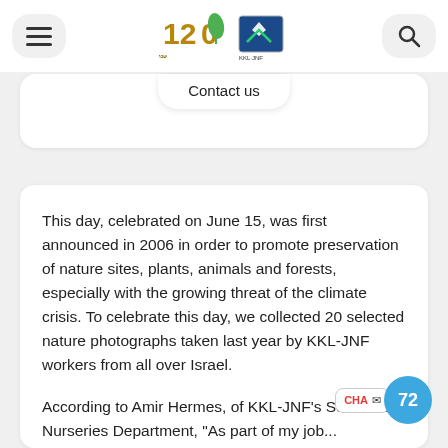[Figure (logo): KKL-JNF 120th anniversary logo with leaf icon and organization emblem]
Contact us
This day, celebrated on June 15, was first announced in 2006 in order to promote preservation of nature sites, plants, animals and forests, especially with the growing threat of the climate crisis. To celebrate this day, we collected 20 selected nature photographs taken last year by KKL-JNF workers from all over Israel.
According to Amir Hermes, of KKL-JNF's Seed and Nurseries Department, "As part of my job...